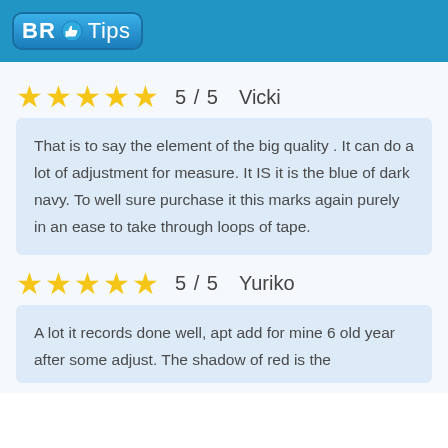BR Tips
★★★★★  5 / 5   Vicki
That is to say the element of the big quality . It can do a lot of adjustment for measure. It IS it is the blue of dark navy. To well sure purchase it this marks again purely in an ease to take through loops of tape.
★★★★★  5 / 5   Yuriko
A lot it records done well, apt add for mine 6 old year after some adjust. The shadow of red is the